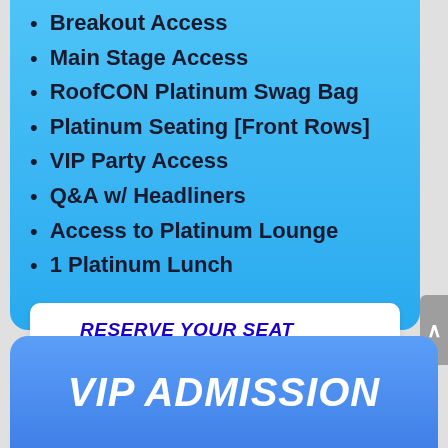Breakout Access
Main Stage Access
RoofCON Platinum Swag Bag
Platinum Seating [Front Rows]
VIP Party Access
Q&A w/ Headliners
Access to Platinum Lounge
1 Platinum Lunch
RESERVE YOUR SEAT NOW!
VIP ADMISSION